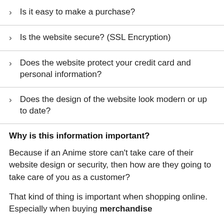Is it easy to make a purchase?
Is the website secure? (SSL Encryption)
Does the website protect your credit card and personal information?
Does the design of the website look modern or up to date?
Why is this information important?
Because if an Anime store can't take care of their website design or security, then how are they going to take care of you as a customer?
That kind of thing is important when shopping online. Especially when buying merchandise